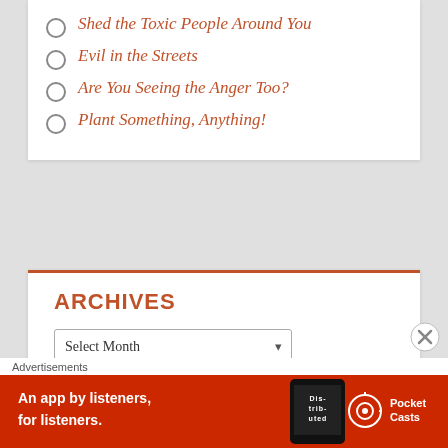Shed the Toxic People Around You
Evil in the Streets
Are You Seeing the Anger Too?
Plant Something, Anything!
ARCHIVES
Select Month
BLOG STATS
100,667 hits
[Figure (screenshot): Advertisement banner: red background, 'An app by listeners, for listeners.' with Pocket Casts logo and phone image]